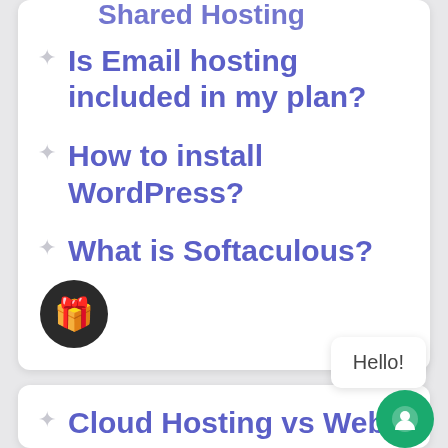Is Email hosting included in my plan?
How to install WordPress?
What is Softaculous?
Cloud Hosting vs Web Hosting?
Hello!